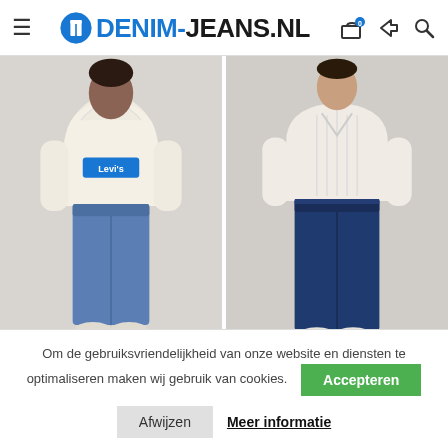DENIM-JEANS.NL
[Figure (photo): Model wearing a cream Levi's hoodie and medium-wash blue slim straight jeans, light grey background]
[Figure (photo): Model wearing a cream cable-knit sweater and dark navy high-rise straight jeans, light grey background]
724™ High Rise Straight
724™ High Rise Straight
Om de gebruiksvriendelijkheid van onze website en diensten te optimaliseren maken wij gebruik van cookies.
Afwijzen
Accepteren
Meer informatie